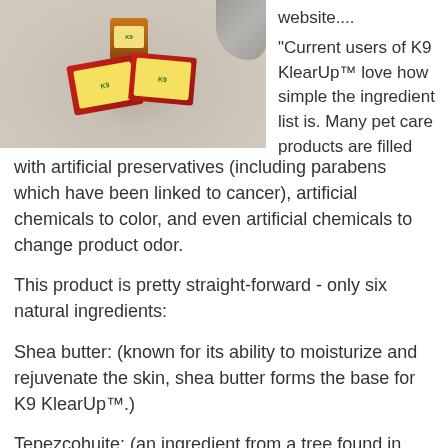[Figure (photo): Top-down photo of K9 KlearUp product — a small amber jar and two red/yellow product boxes on a light carpet, with a cat's fur visible at the edge.]
website....
"Current users of K9 KlearUp™ love how simple the ingredient list is. Many pet care products are filled with artificial preservatives (including parabens which have been linked to cancer), artificial chemicals to color, and even artificial chemicals to change product odor.
This product is pretty straight-forward - only six natural ingredients:
Shea butter: (known for its ability to moisturize and rejuvenate the skin, shea butter forms the base for K9 KlearUp™.)
Tepezcohuite: (an ingredient from a tree found in central America. It's been used it for over 1,000 years to treat skin lesions of every kind.)